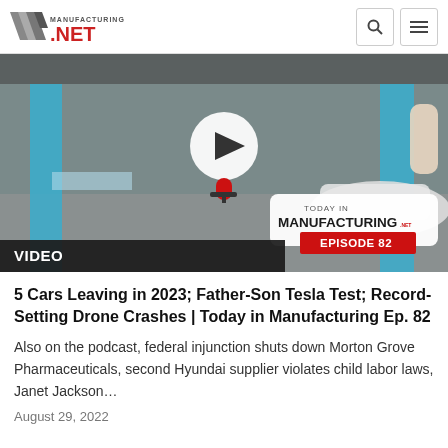Manufacturing.net
[Figure (screenshot): Video thumbnail showing 'Today in Manufacturing Episode 82' with a parking garage scene, play button overlay, and a red/white badge with episode info.]
VIDEO
5 Cars Leaving in 2023; Father-Son Tesla Test; Record-Setting Drone Crashes | Today in Manufacturing Ep. 82
Also on the podcast, federal injunction shuts down Morton Grove Pharmaceuticals, second Hyundai supplier violates child labor laws, Janet Jackson…
August 29, 2022